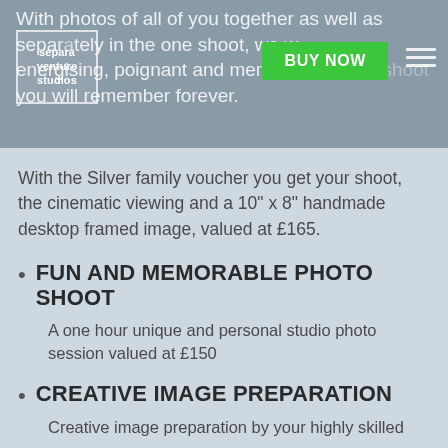[Figure (screenshot): Website header/hero banner with logo, BUY NOW button, and hamburger menu. Text reads: 'With photos of all of you together as well as separately in the one shoot, we will...energising, poignant and memorable photo shoot you will remember forever.']
With the Silver family voucher you get your shoot, the cinematic viewing and a 10" x 8" handmade desktop framed image, valued at £165.
FUN AND MEMORABLE PHOTO SHOOT
A one hour unique and personal studio photo session valued at £150
CREATIVE IMAGE PREPARATION
Creative image preparation by your highly skilled